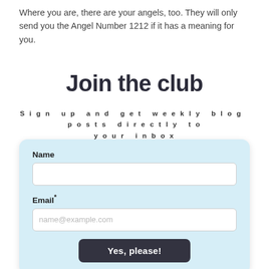Where you are, there are your angels, too. They will only send you the Angel Number 1212 if it has a meaning for you.
Join the club
Sign up and get weekly blog posts directly to your inbox
[Figure (other): A signup form with fields for Name and Email, and a 'Yes, please!' submit button, on a light blue background]